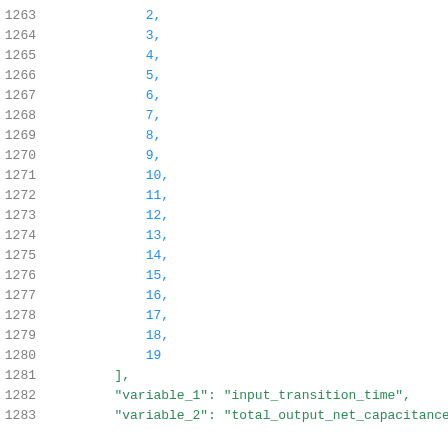Code listing lines 1263-1283 showing array values 2-19 and variable definitions for variable_1 and variable_2